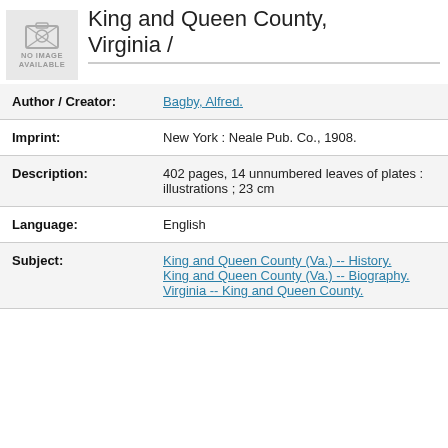[Figure (illustration): No image available placeholder box with camera icon]
King and Queen County, Virginia /
| Author / Creator: | Bagby, Alfred. |
| Imprint: | New York : Neale Pub. Co., 1908. |
| Description: | 402 pages, 14 unnumbered leaves of plates : illustrations ; 23 cm |
| Language: | English |
| Subject: | King and Queen County (Va.) -- History.
King and Queen County (Va.) -- Biography.
Virginia -- King and Queen County. |